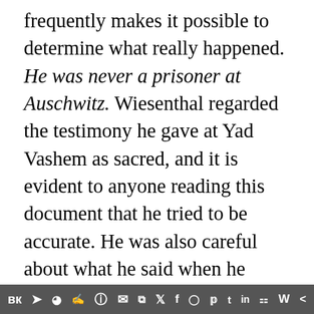frequently makes it possible to determine what really happened. He was never a prisoner at Auschwitz. Wiesenthal regarded the testimony he gave at Yad Vashem as sacred, and it is evident to anyone reading this document that he tried to be accurate. He was also careful about what he said when he testified at the trials of war criminals. Again and again he told the judges that certain details were known to him only through hearsay; again and again he warned that his memory might be misleading him on everything to do with dates. In his evidence at one trial, Wiesenthal said that he had seen a trainload of Jews standing at the platform at Lvov for three days. This may have been the origin of his story
вк ✈ reddit WordPress WhatsApp email layers Twitter Facebook Instagram Pinterest Tumblr LinkedIn gift W share